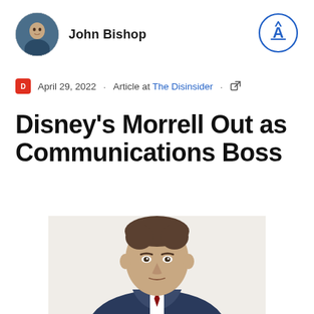[Figure (photo): Circular avatar photo of John Bishop, a man in a vehicle]
John Bishop
[Figure (logo): Circular blue outline logo with letter A and pencil icon inside]
April 29, 2022 · Article at The Disinsider · [external link icon]
Disney's Morrell Out as Communications Boss
[Figure (photo): Professional headshot of a man in a suit, cropped at chin to chest level, looking forward]